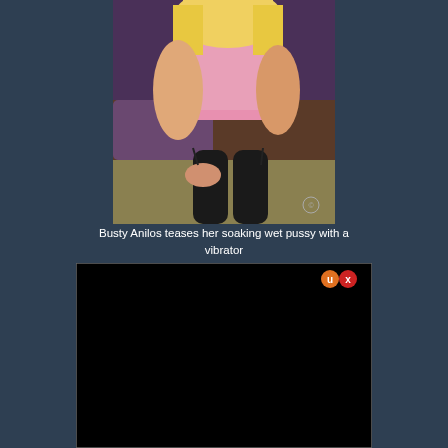[Figure (photo): A blonde woman in pink lingerie and black stockings posing on a bed with purple bedding]
Busty Anilos teases her soaking wet pussy with a vibrator
[Figure (screenshot): A black rectangle with a close/minimize button in the top right corner, appearing to be a video or ad popup overlay]